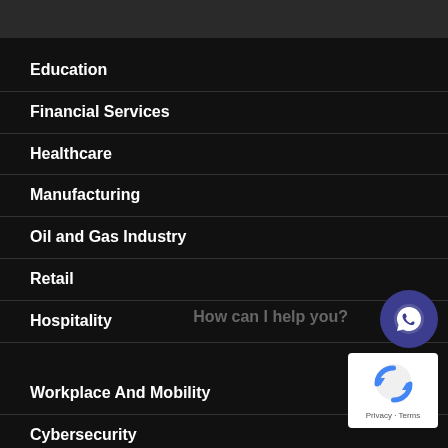Education
Financial Services
Healthcare
Manufacturing
Oil and Gas Industry
Retail
Hospitality
How can I help you?
Workplace And Mobility
Cybersecurity
Networking
[Figure (illustration): WhatsApp chat button - dark navy circular button with white phone/message icon]
[Figure (other): reCAPTCHA widget with refresh icon and Privacy - Terms text]